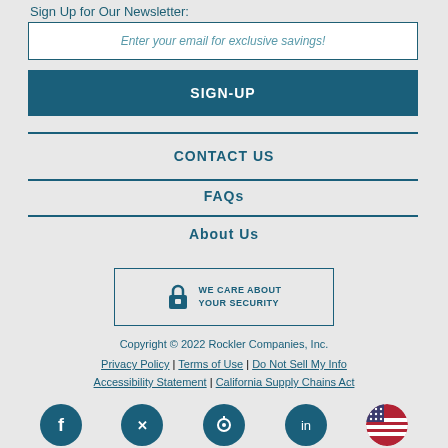Sign Up for Our Newsletter:
Enter your email for exclusive savings!
SIGN-UP
CONTACT US
FAQs
About Us
[Figure (infographic): Lock icon with text WE CARE ABOUT YOUR SECURITY inside a bordered box]
Copyright © 2022 Rockler Companies, Inc.
Privacy Policy | Terms of Use | Do Not Sell My Info
Accessibility Statement | California Supply Chains Act
[Figure (infographic): Row of social media icons (Facebook, Twitter, Pinterest, another circle, US flag circle) at the bottom]